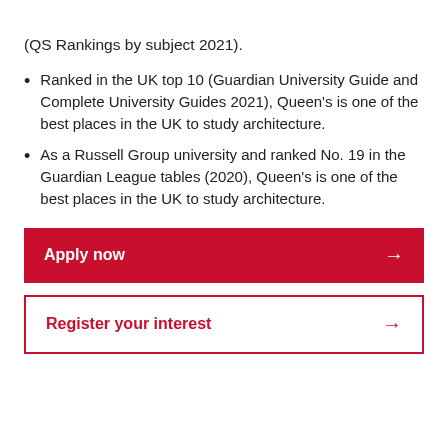(QS Rankings by subject 2021).
Ranked in the UK top 10 (Guardian University Guide and Complete University Guides 2021), Queen's is one of the best places in the UK to study architecture.
As a Russell Group university and ranked No. 19 in the Guardian League tables (2020), Queen's is one of the best places in the UK to study architecture.
Apply now →
Register your interest →